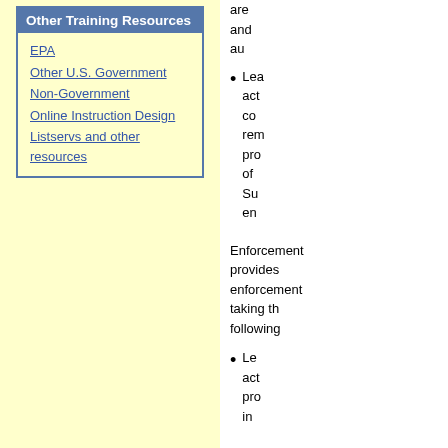Other Training Resources
EPA
Other U.S. Government
Non-Government
Online Instruction Design
Listservs and other resources
are and au
Lea act co rem pro of Su en
Enforcement provides enforcement taking th following
Le act pr in